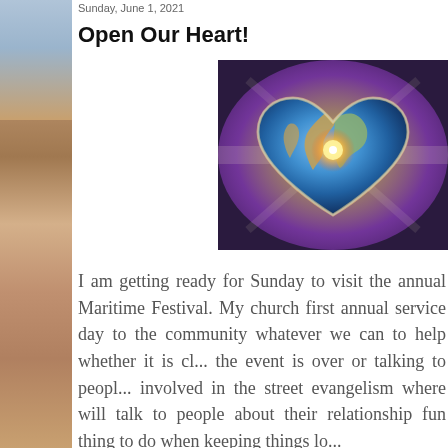Sunday, June 1, 2021
Open Our Heart!
[Figure (illustration): A heart-shaped Earth globe with a glowing light at the center, surrounded by colorful purple and golden rays on a starry background.]
I am getting ready for Sunday to visit the annual Maritime Festival. My church first annual service day to the community whatever we can to help whether it is cleaning the event is over or talking to people involved in the street evangelism where will talk to people about their relationship fun thing to do when keeping things lo...